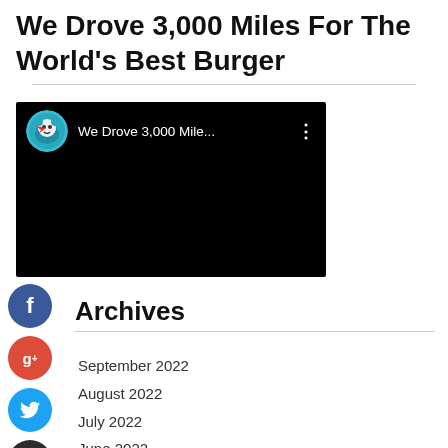We Drove 3,000 Miles For The World's Best Burger
[Figure (screenshot): YouTube video embed with black background showing channel avatar and title 'We Drove 3,000 Mile...' with menu dots]
[Figure (infographic): Social media share icons: Facebook (blue circle with f), Google+ (red circle with g+), Twitter (blue circle with bird), and a dark plus button]
Archives
September 2022
August 2022
July 2022
June 2022
May 2022
April 2022